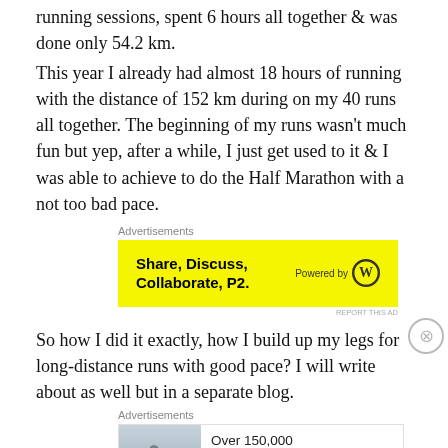running sessions, spent 6 hours all together & was done only 54.2 km.
This year I already had almost 18 hours of running with the distance of 152 km during on my 40 runs all together. The beginning of my runs wasn't much fun but yep, after a while, I just get used to it & I was able to achieve to do the Half Marathon with a not too bad pace.
[Figure (other): Advertisement banner: yellow background with bold text 'Share, Discuss, Collaborate, P2.' and 'Powered by' WordPress logo]
So how I did it exactly, how I build up my legs for long-distance runs with good pace? I will write about as well but in a separate blog.
[Figure (other): Advertisement banner: Day One Journal ad with photo of person, 'Over 150,000 5-star reviews' and Day One Journal logo]